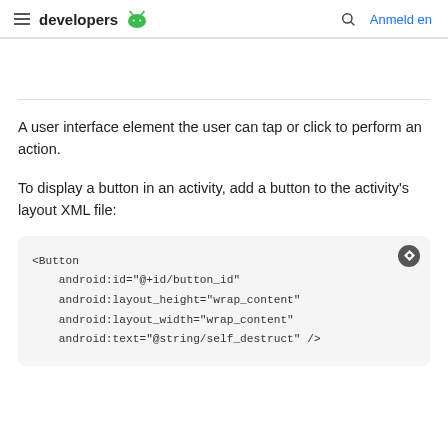developers  Anmelden
A user interface element the user can tap or click to perform an action.
To display a button in an activity, add a button to the activity's layout XML file:
<Button
    android:id="@+id/button_id"
    android:layout_height="wrap_content"
    android:layout_width="wrap_content"
    android:text="@string/self_destruct" />